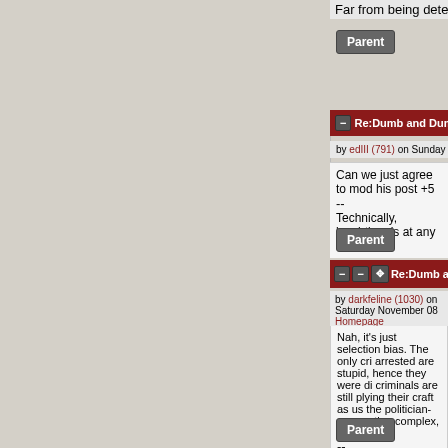Far from being deterred, the criminals s
Parent
Re:Dumb and Dumber (Sco
by edIII (791) on Sunday November 09 201
Can we just agree to mod his post +5
--
Technically, lunchtime is at any mom
Parent
Re:Dumb and Dumber
by darkfeline (1030) on Saturday November 08
Homepage
Nah, it's just selection bias. The only cri arrested are stupid, hence they were di criminals are still plying their craft as us the politician-corporation complex, eith
--
Join the SDF Public Access UNIX System
Parent